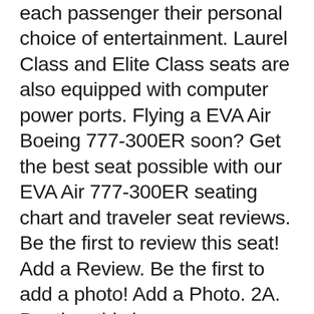each passenger their personal choice of entertainment. Laurel Class and Elite Class seats are also equipped with computer power ports. Flying a EVA Air Boeing 777-300ER soon? Get the best seat possible with our EVA Air 777-300ER seating chart and traveler seat reviews. Be the first to review this seat! Add a Review. Be the first to add a photo! Add a Photo. 2A. Pro tips: this is an average business class seat: Add a Tip. this is an average premium economy seat: Add a
Dec 23, 2019B B· 99000+ New Best Description About Economy 2018. Review eva air royal laurel cl taipei to san francisco seat map eva air boeing b777-300er 300 seating chart seat advisor